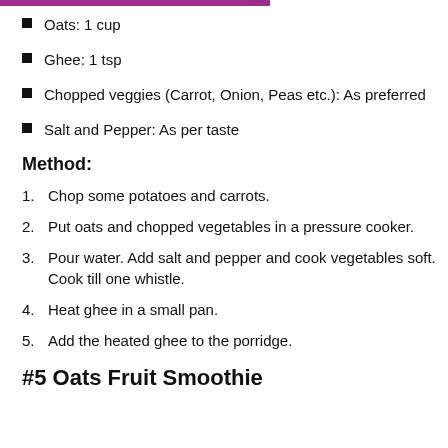Oats: 1 cup
Ghee: 1 tsp
Chopped veggies (Carrot, Onion, Peas etc.): As preferred
Salt and Pepper: As per taste
Method:
Chop some potatoes and carrots.
Put oats and chopped vegetables in a pressure cooker.
Pour water. Add salt and pepper and cook vegetables soft. Cook till one whistle.
Heat ghee in a small pan.
Add the heated ghee to the porridge.
#5 Oats Fruit Smoothie